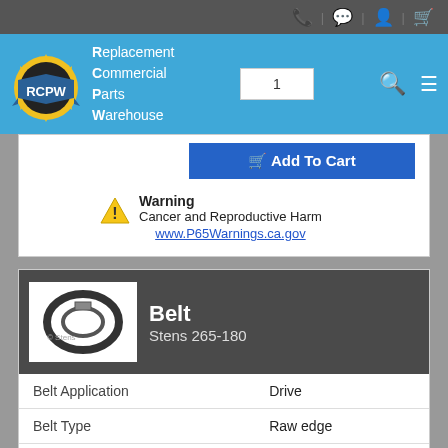RCPW - Replacement Commercial Parts Warehouse
[Figure (screenshot): Add To Cart button with quantity field]
Warning
Cancer and Reproductive Harm
www.P65Warnings.ca.gov
[Figure (photo): Belt product image - Stens belt coiled]
Belt
Stens 265-180
|  |  |
| --- | --- |
| Belt Application | Drive |
| Belt Type | Raw edge |
| Length | 43-1/4" |